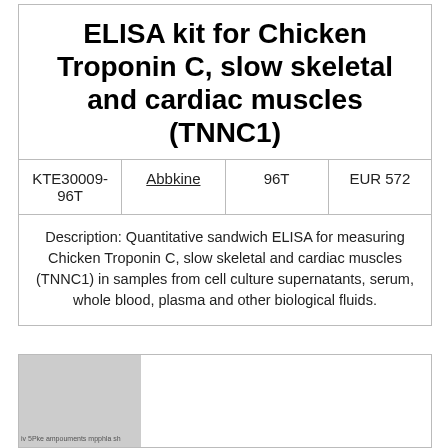ELISA kit for Chicken Troponin C, slow skeletal and cardiac muscles (TNNC1)
| KTE30009-96T | Abbkine | 96T | EUR 572 |
| --- | --- | --- | --- |
Description: Quantitative sandwich ELISA for measuring Chicken Troponin C, slow skeletal and cardiac muscles (TNNC1) in samples from cell culture supernatants, serum, whole blood, plasma and other biological fluids.
[Figure (photo): Partially visible product image with grey left panel containing watermark text and white right panel area.]